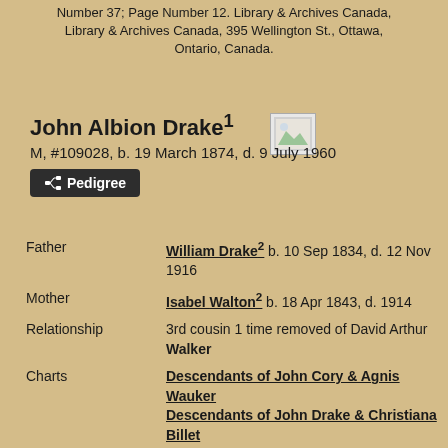Number 37; Page Number 12. Library & Archives Canada, Library & Archives Canada, 395 Wellington St., Ottawa, Ontario, Canada.
John Albion Drake¹
M, #109028, b. 19 March 1874, d. 9 July 1960
Pedigree
Father   William Drake² b. 10 Sep 1834, d. 12 Nov 1916
Mother   Isabel Walton² b. 18 Apr 1843, d. 1914
Relationship   3rd cousin 1 time removed of David Arthur Walker
Charts   Descendants of John Cory & Agnis Wauker
Descendants of John Drake & Christiana Billet
Descendants of William Dyer & Mary Barrett
Descendants of Hugh Hull & Elinor
Descendants of Marcus Palmer & Nancy Ann Slocum